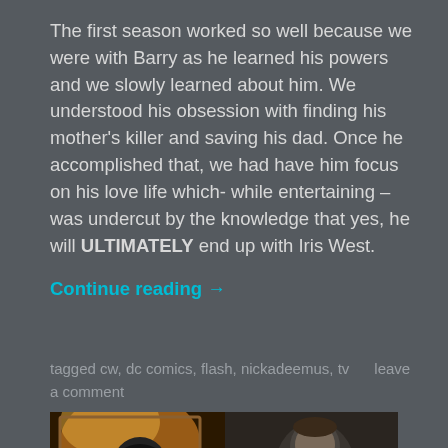The first season worked so well because we were with Barry as he learned his powers and we slowly learned about him. We understood his obsession with finding his mother's killer and saving his dad. Once he accomplished that, we had have him focus on his love life which- while entertaining – was undercut by the knowledge that yes, he will ULTIMATELY end up with Iris West.
Continue reading →
tagged cw, dc comics, flash, nickadeemus, tv    leave a comment
[Figure (photo): Two people facing each other in a dark scene; the left figure wears a dark mask and the right is a man in a suit. Text at the bottom reads 'KEEP MINDS ... ALL TIMES'.]